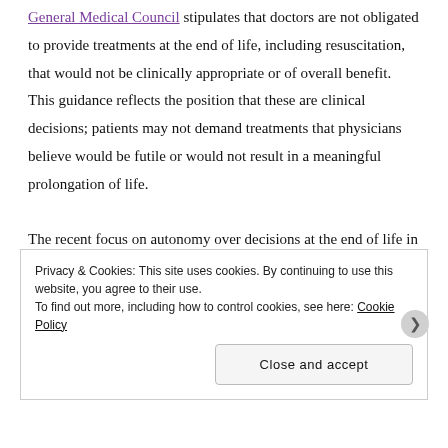General Medical Council stipulates that doctors are not obligated to provide treatments at the end of life, including resuscitation, that would not be clinically appropriate or of overall benefit. This guidance reflects the position that these are clinical decisions; patients may not demand treatments that physicians believe would be futile or would not result in a meaningful prolongation of life.

The recent focus on autonomy over decisions at the end of life in the UK, through Tracey's court case as well as controversy over the Liverpool Care Pathway, highlight the
Privacy & Cookies: This site uses cookies. By continuing to use this website, you agree to their use.
To find out more, including how to control cookies, see here: Cookie Policy
Close and accept